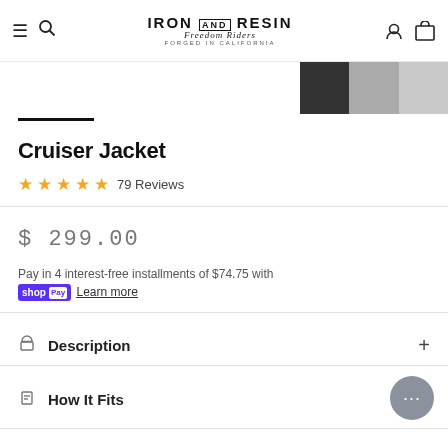Iron and Resin — Freedom Riders — Forged in California
[Figure (photo): Partial product image thumbnails showing jacket in different views]
Cruiser Jacket
★★★★★ 79 Reviews
$ 299.00
Pay in 4 interest-free installments of $74.75 with Shop Pay  Learn more
Description
How It Fits